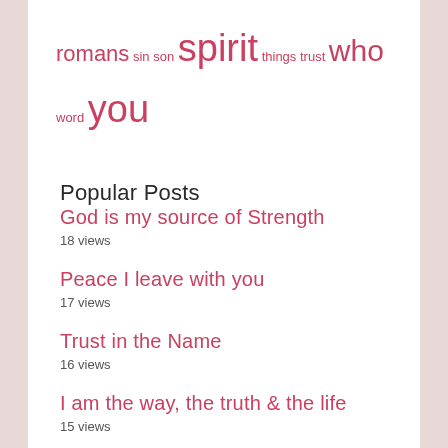romans sin son spirit things trust who word you
Popular Posts
God is my source of Strength
18 views
Peace I leave with you
17 views
Trust in the Name
16 views
I am the way, the truth & the life
15 views
Ask and it will be given